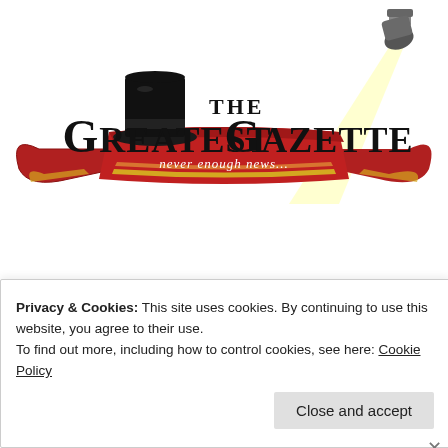[Figure (logo): The Greatest Gazette logo: red ribbon banner with gold trim, black top hat, large serif text 'THE GREATEST GAZETTE', italic tagline 'never enough news...', and a spotlight/stage light illustration in upper right corner]
[Figure (other): Navigation bar with hamburger menu icon (three horizontal lines) centered in a bordered box]
SLIGHTLY BLURRY TITLE
Privacy & Cookies: This site uses cookies. By continuing to use this website, you agree to their use.
To find out more, including how to control cookies, see here: Cookie Policy
Close and accept